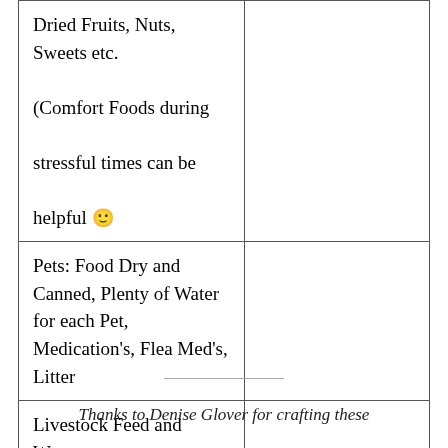| Dried Fruits, Nuts, Sweets etc.
(Comfort Foods during stressful times can be helpful 🙂) |  |
| Pets: Food Dry and Canned, Plenty of Water for each Pet, Medication's, Flea Med's, Litter |  |
| Livestock Feed and Water |  |
Thanks to Denise Glover for crafting these